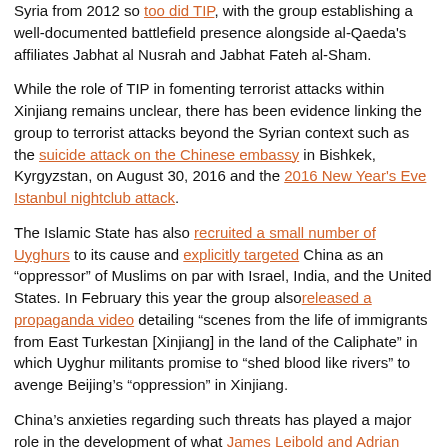Syria from 2012 so too did TIP, with the group establishing a well-documented battlefield presence alongside al-Qaeda's affiliates Jabhat al Nusrah and Jabhat Fateh al-Sham.
While the role of TIP in fomenting terrorist attacks within Xinjiang remains unclear, there has been evidence linking the group to terrorist attacks beyond the Syrian context such as the suicide attack on the Chinese embassy in Bishkek, Kyrgyzstan, on August 30, 2016 and the 2016 New Year's Eve Istanbul nightclub attack.
The Islamic State has also recruited a small number of Uyghurs to its cause and explicitly targeted China as an “oppressor” of Muslims on par with Israel, India, and the United States. In February this year the group also released a propaganda video detailing “scenes from the life of immigrants from East Turkestan [Xinjiang] in the land of the Caliphate” in which Uyghur militants promise to “shed blood like rivers” to avenge Beijing’s “oppression” in Xinjiang.
China’s anxieties regarding such threats has played a major role in the development of what James Leibold and Adrian Zenz have termed